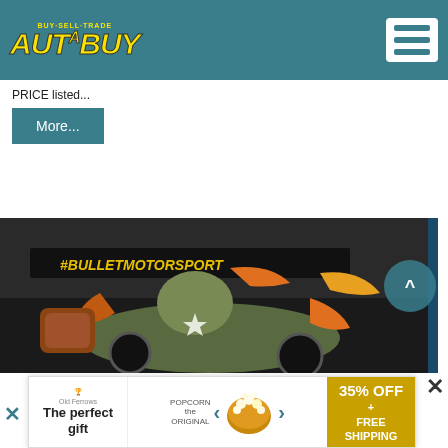[Figure (logo): AutaBuy logo — BUY·SELL·TRADE text above, yellow italic bold text on teal header bar]
PRICE listed...
More...
View More Photos
[Figure (photo): Motorcycle with olive/green color and orange seat in a garage setting, with #BULLETMOTORSPORT text visible in background]
[Figure (infographic): Advertisement banner: The perfect gift — 35% OFF + FREE SHIPPING]